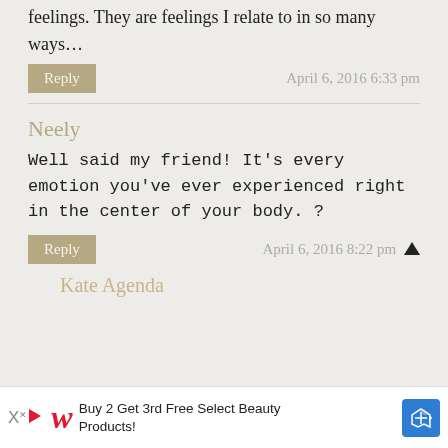roller coaster. I completely understand your feelings. They are feelings I relate to in so many ways...
Reply
April 6, 2016 6:33 pm
Neely
Well said my friend! It’s every emotion you’ve ever experienced right in the center of your body. ?
Reply
April 6, 2016 8:22 pm
Kate Agenda
Buy 2 Get 3rd Free Select Beauty Products!